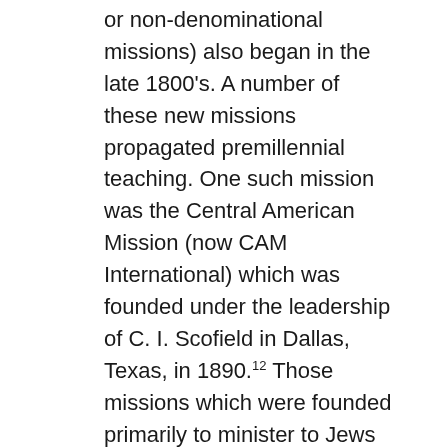or non-denominational missions) also began in the late 1800's. A number of these new missions propagated premillennial teaching. One such mission was the Central American Mission (now CAM International) which was founded under the leadership of C. I. Scofield in Dallas, Texas, in 1890.12 Those missions which were founded primarily to minister to Jews (such as The American Board of Missions to the Jews and The Friends of Israel Gospel Ministry, Inc.) have been consistently premillennial.
Various kinds of literature have provided widespread exposure for the revived